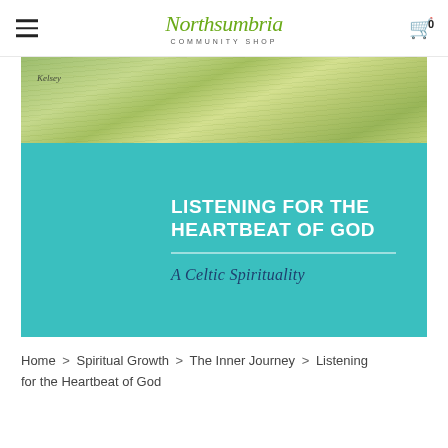Northsumbria Community Shop — navigation header with hamburger menu and cart icon
[Figure (photo): Book cover for 'Listening for the Heartbeat of God: A Celtic Spirituality'. Upper portion shows a green landscape painting with an artist signature 'Kelsey'. Lower portion is teal/turquoise with white bold uppercase title text 'Listening for the Heartbeat of God' and subtitle 'A Celtic Spirituality' in dark blue italic serif font.]
Home > Spiritual Growth > The Inner Journey > Listening for the Heartbeat of God